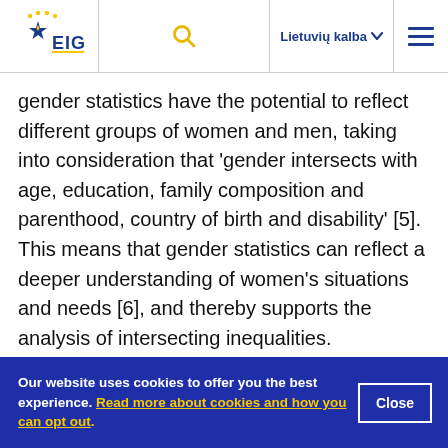EIGE | Lietuvių kalba
gender statistics have the potential to reflect different groups of women and men, taking into consideration that 'gender intersects with age, education, family composition and parenthood, country of birth and disability' [5]. This means that gender statistics can reflect a deeper understanding of women's situations and needs [6], and thereby supports the analysis of intersecting inequalities.
Our website uses cookies to offer you the best experience. Read more about cookies and how you can opt out.